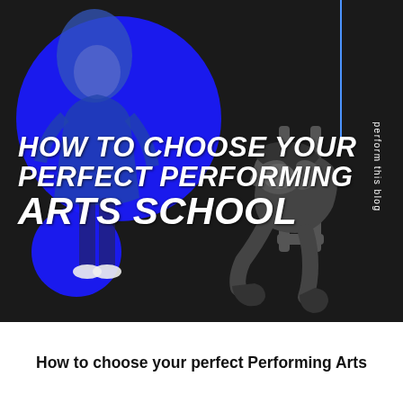[Figure (illustration): Dark background image of two people in what appears to be a performing arts scene. One person stands wearing blue (tinted blue) and the other is seated hunched over. A large blue circle overlays the left/top portion and a smaller blue circle is at the bottom left. A thin blue vertical line appears in the upper right area. Sideways text reads 'perform this blog'. Overlaid bold italic white uppercase text reads 'HOW TO CHOOSE YOUR PERFECT PERFORMING ARTS SCHOOL'.]
How to choose your perfect Performing Arts